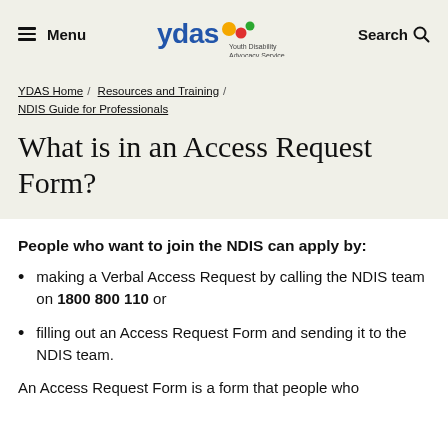Menu | YDAS Youth Disability Advocacy Service | Search
YDAS Home / Resources and Training / NDIS Guide for Professionals
What is in an Access Request Form?
People who want to join the NDIS can apply by:
making a Verbal Access Request by calling the NDIS team on 1800 800 110 or
filling out an Access Request Form and sending it to the NDIS team.
An Access Request Form is a form that people who